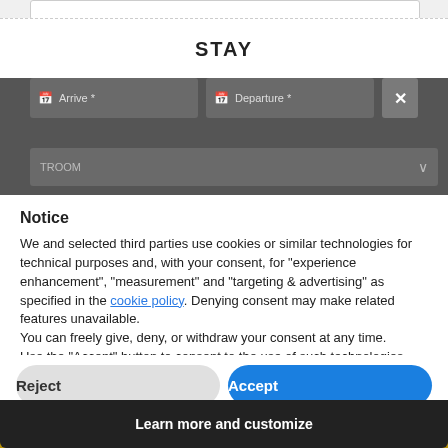STAY
Arrive *
Departure *
Notice
We and selected third parties use cookies or similar technologies for technical purposes and, with your consent, for “experience enhancement”, “measurement” and “targeting & advertising” as specified in the cookie policy. Denying consent may make related features unavailable.
You can freely give, deny, or withdraw your consent at any time.
Use the “Accept” button to consent to the use of such technologies. Use the “Reject” button or close this notice to continue without accepting.
Reject
Accept
Learn more and customize